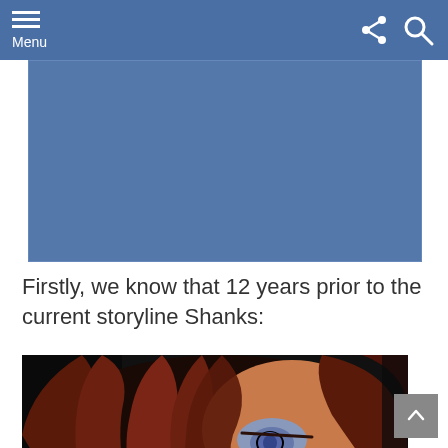Menu
[Figure (illustration): Blue rectangular banner image area, solid blue/steel color]
Firstly, we know that 12 years prior to the current storyline Shanks:
[Figure (illustration): Anime character close-up: dark scene showing a character with long reddish-brown hair and a blue/grey eye, anime style artwork]